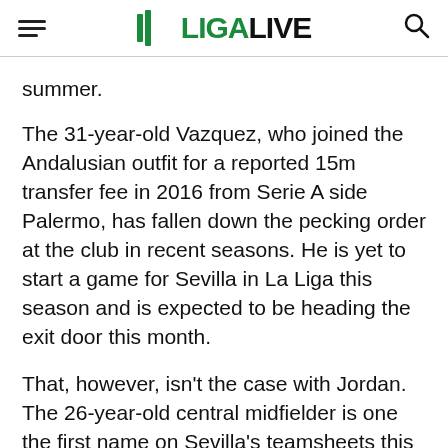FL LIGA LIVE
summer.
The 31-year-old Vazquez, who joined the Andalusian outfit for a reported 15m transfer fee in 2016 from Serie A side Palermo, has fallen down the pecking order at the club in recent seasons. He is yet to start a game for Sevilla in La Liga this season and is expected to be heading the exit door this month.
That, however, isn't the case with Jordan. The 26-year-old central midfielder is one the first name on Sevilla's teamsheets this seasons, having started all but three of their games in La Liga, while also coming on for